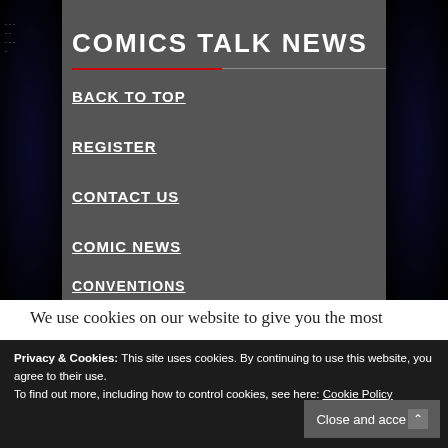COMICS TALK NEWS
BACK TO TOP
REGISTER
CONTACT US
COMIC NEWS
CONVENTIONS
We use cookies on our website to give you the most
Privacy & Cookies: This site uses cookies. By continuing to use this website, you agree to their use. To find out more, including how to control cookies, see here: Cookie Policy
Close and accept